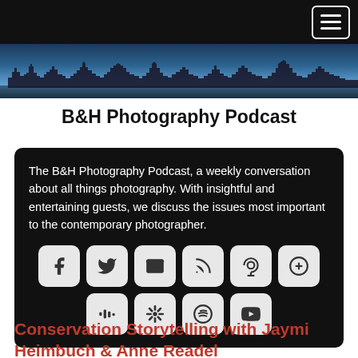Navigation bar with hamburger menu
[Figure (photo): City skyline panorama at dusk/night with blue sky and city lights]
B&H Photography Podcast
The B&H Photography Podcast, a weekly conversation about all things photography. With insightful and entertaining guests, we discuss the issues most important to the contemporary photographer.
[Figure (infographic): Row of social media and podcast platform icon buttons: Facebook, Twitter, Email, RSS, Podcasts, Plus, Stitcher, Google Podcasts, Spotify, YouTube]
Conservation Storytelling with Jaymi Heimbuch & Anne Readel